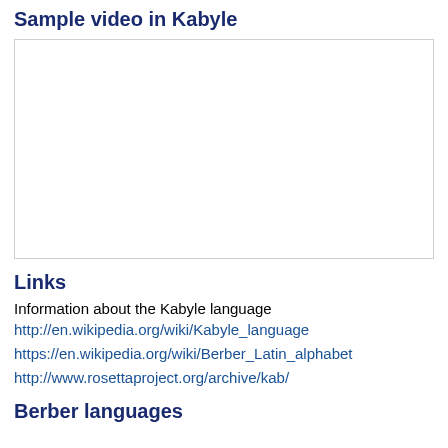Sample video in Kabyle
[Figure (other): Embedded video player area for a sample video in Kabyle language]
Links
Information about the Kabyle language
http://en.wikipedia.org/wiki/Kabyle_language
https://en.wikipedia.org/wiki/Berber_Latin_alphabet
http://www.rosettaproject.org/archive/kab/
Berber languages